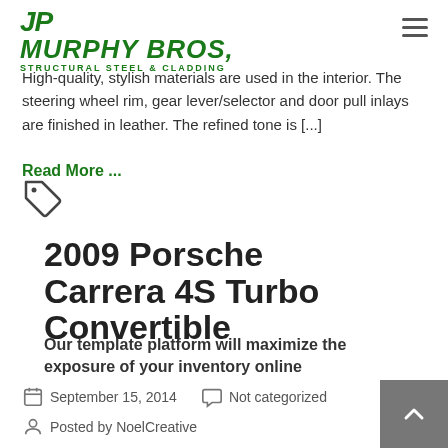Murphy Bros. Structural Steel & Cladding
High-quality, stylish materials are used in the interior. The steering wheel rim, gear lever/selector and door pull inlays are finished in leather. The refined tone is [...]
Read More ...
[Figure (illustration): Tag/label icon]
2009 Porsche Carrera 4S Turbo Convertible
Our template platform will maximize the exposure of your inventory online
September 15, 2014   Not categorized
Posted by NoelCreative